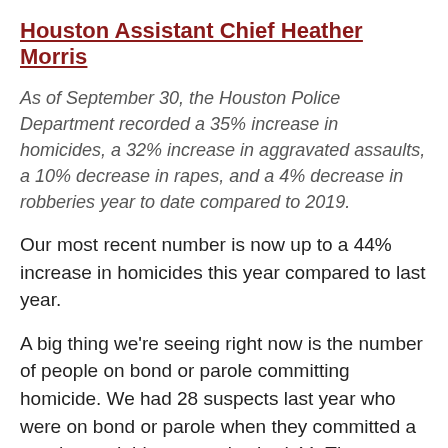Houston Assistant Chief Heather Morris
As of September 30, the Houston Police Department recorded a 35% increase in homicides, a 32% increase in aggravated assaults, a 10% decrease in rapes, and a 4% decrease in robberies year to date compared to 2019.
Our most recent number is now up to a 44% increase in homicides this year compared to last year.
A big thing we're seeing right now is the number of people on bond or parole committing homicide. We had 28 suspects last year who were on bond or parole when they committed a murder, and this year we've had 44. The person who killed one of our officers a week ago was out on $100 bond for unlawfully possessing a weapon. We always have people out on bond or parole who commit crimes, but the number is higher this year. Bond reform in some cases is needed, but you have people who